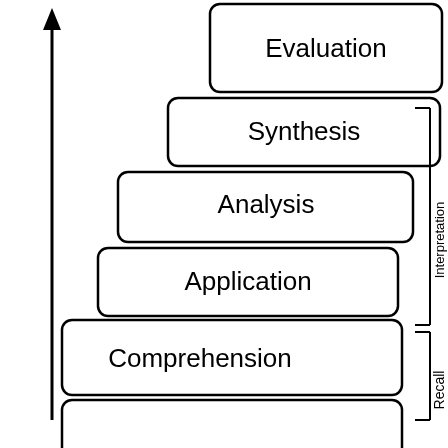[Figure (flowchart): Bloom's Taxonomy staircase diagram showing levels from bottom to top: (partial bottom level), Comprehension, Application, Analysis, Synthesis, Evaluation. A vertical arrow on the left points upward. On the right side, vertical text labels 'Recall' (lower) and 'Interpretation' (upper) with bracket lines.]